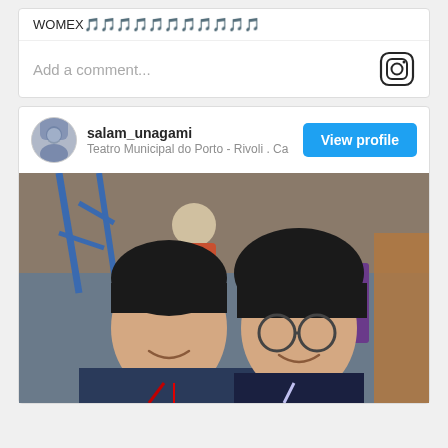WOMEX🎵🎵🎵🎵🎵🎵🎵🎵🎵🎵🎵
Add a comment...
salam_unagami
Teatro Municipal do Porto - Rivoli . Ca
View profile
[Figure (photo): Two young Asian people smiling for a selfie at what appears to be the WOMEX music conference. Behind them is a purple WOMEX banner with '21' visible and blue metal scaffolding. A person in a floral shirt is visible in the background.]